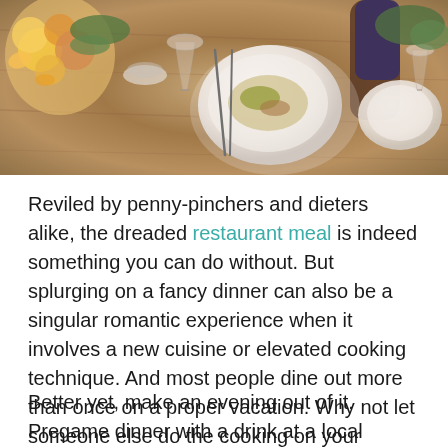[Figure (photo): Overhead view of a restaurant table with plates of food, cutlery, wine glasses, and a floral arrangement]
Reviled by penny-pinchers and dieters alike, the dreaded restaurant meal is indeed something you can do without. But splurging on a fancy dinner can also be a singular romantic experience when it involves a new cuisine or elevated cooking technique. And most people dine out more than once on a proper vacation. Why not let someone else do the cooking on your staycation?
Better yet, make an evening out of it. Pregame dinner with a drink at a local brewery or cocktail bar. Afterward, walk off the meal with a stroll